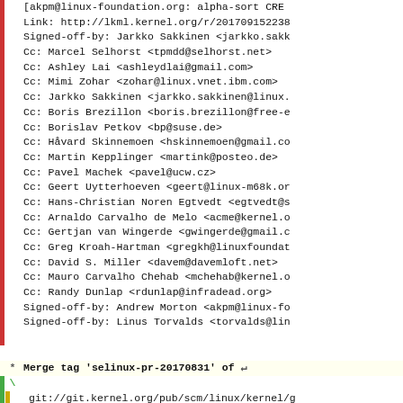Git log / commit metadata lines showing Cc and Signed-off-by headers, followed by a merge tag commit entry and git URL, and a pull request description beginning with 'Pull selinux updates from Paul Moore'.